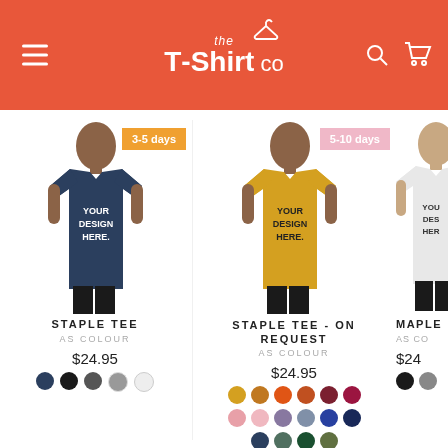[Figure (screenshot): Website header with orange/red background showing 'the T-Shirt Co' logo in white, hamburger menu on left, search and cart icons on right]
[Figure (photo): Man wearing navy blue custom t-shirt with 'YOUR DESIGN HERE' text, badge showing '3-5 days']
STAPLE TEE
AS COLOUR
$24.95
[Figure (photo): Man wearing yellow/gold custom t-shirt with 'YOUR DESIGN HERE' text, badge showing '5-10 days']
STAPLE TEE - ON REQUEST
AS COLOUR
$24.95
[Figure (photo): Woman wearing white custom t-shirt, partially cropped at right edge]